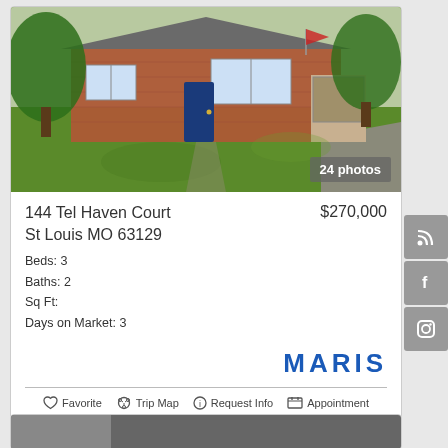[Figure (photo): Exterior photo of a single-story brick ranch house with green lawn, trees, and a blue front door. Badge reads '24 photos'.]
144 Tel Haven Court  $270,000
St Louis MO 63129
Beds: 3
Baths: 2
Sq Ft:
Days on Market: 3
[Figure (logo): MARIS logo in bold blue letters]
Favorite   Trip Map   Request Info   Appointment
[Figure (photo): Partial view of a second listing card at the bottom of the page]